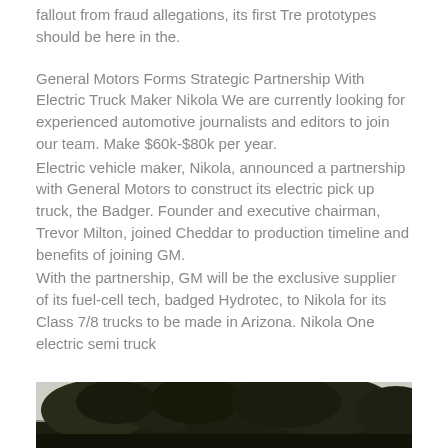fallout from fraud allegations, its first Tre prototypes should be here in the.
General Motors Forms Strategic Partnership With Electric Truck Maker Nikola We are currently looking for experienced automotive journalists and editors to join our team. Make $60k-$80k per year.
Electric vehicle maker, Nikola, announced a partnership with General Motors to construct its electric pick up truck, the Badger. Founder and executive chairman, Trevor Milton, joined Cheddar to production timeline and benefits of joining GM.
With the partnership, GM will be the exclusive supplier of its fuel-cell tech, badged Hydrotec, to Nikola for its Class 7/8 trucks to be made in Arizona. Nikola One electric semi truck
[Figure (photo): Outdoor photograph showing trees with dense foliage against a light sky, bottom portion of the page]